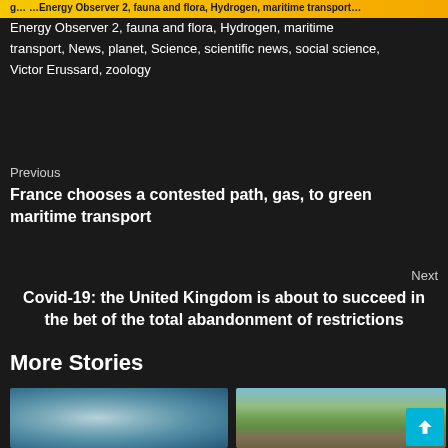Energy Observer 2, fauna and flora, Hydrogen, maritime transport, News, planet, Science, scientific news, social science, Victor Erussard, zoology
Previous
France chooses a contested path, gas, to green maritime transport
Next
Covid-19: the United Kingdom is about to succeed in the bet of the total abandonment of restrictions
More Stories
[Figure (photo): Blurred medical/surgical image showing hands and medical equipment in blue-green tones]
[Figure (photo): Outdoor excavation or archaeological site with trees, people working, and a back-to-top button overlay]